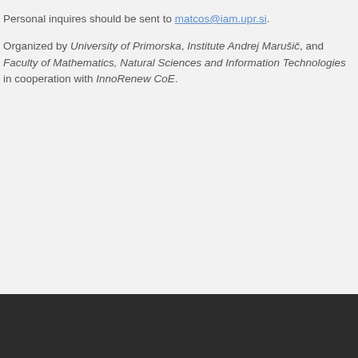Personal inquires should be sent to matcos@iam.upr.si.
Organized by University of Primorska, Institute Andrej Marušič, and Faculty of Mathematics, Natural Sciences and Information Technologies in cooperation with InnoRenew CoE.